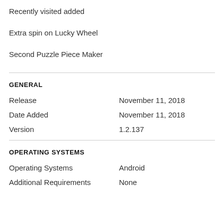Recently visited added
Extra spin on Lucky Wheel
Second Puzzle Piece Maker
GENERAL
| Field | Value |
| --- | --- |
| Release | November 11, 2018 |
| Date Added | November 11, 2018 |
| Version | 1.2.137 |
OPERATING SYSTEMS
| Field | Value |
| --- | --- |
| Operating Systems | Android |
| Additional Requirements | None |